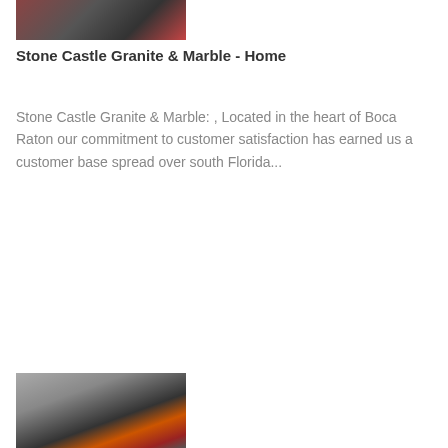[Figure (photo): Partial photo at top showing vehicles or scene, cropped at top of page]
Stone Castle Granite & Marble - Home
Stone Castle Granite & Marble: , Located in the heart of Boca Raton our commitment to customer satisfaction has earned us a customer base spread over south Florida...
[Figure (photo): Photo at bottom left showing a flame or fire on a dark surface with a figure in red]